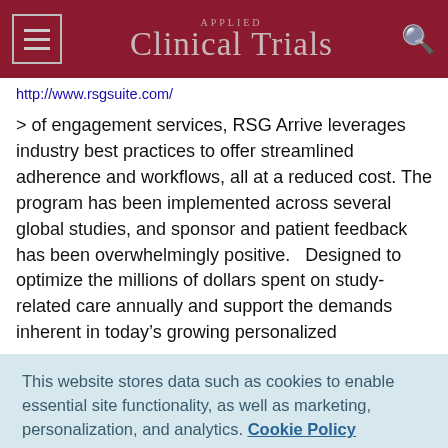Applied Clinical Trials
http://www.rsgsuite.com/
> of engagement services, RSG Arrive leverages industry best practices to offer streamlined adherence and workflows, all at a reduced cost. The program has been implemented across several global studies, and sponsor and patient feedback has been overwhelmingly positive.   Designed to optimize the millions of dollars spent on study-related care annually and support the demands inherent in today’s growing personalized
This website stores data such as cookies to enable essential site functionality, as well as marketing, personalization, and analytics. Cookie Policy
Accept
Deny